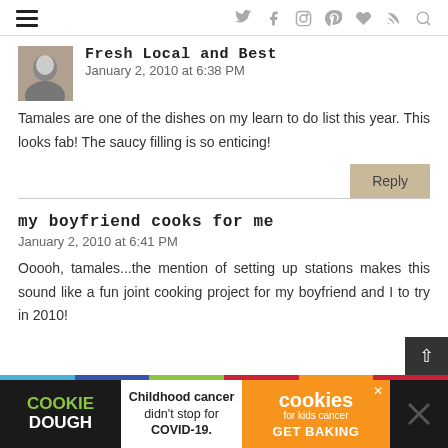Fresh Local and Best — navigation header with hamburger menu and social icons
Fresh Local and Best
January 2, 2010 at 6:38 PM
Tamales are one of the dishes on my learn to do list this year. This looks fab! The saucy filling is so enticing!
my boyfriend cooks for me
January 2, 2010 at 6:41 PM
Ooooh, tamales...the mention of setting up stations makes this sound like a fun joint cooking project for my boyfriend and I to try in 2010!
[Figure (infographic): Cookie Dough advertisement banner: 'Childhood cancer didn't stop for COVID-19. cookies for kids cancer GET BAKING']